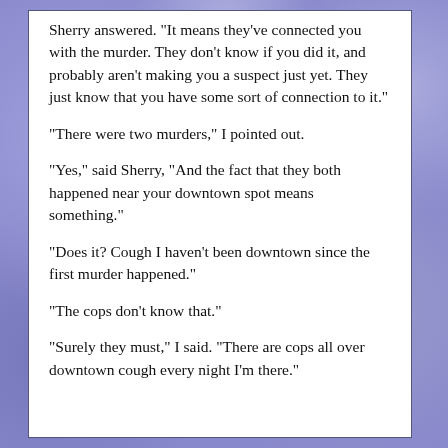Sherry answered. "It means they've connected you with the murder. They don't know if you did it, and probably aren't making you a suspect just yet. They just know that you have some sort of connection to it."
"There were two murders," I pointed out.
"Yes," said Sherry, "And the fact that they both happened near your downtown spot means something."
"Does it? Cough I haven't been downtown since the first murder happened."
"The cops don't know that."
"Surely they must," I said. "There are cops all over downtown cough every night I'm there."